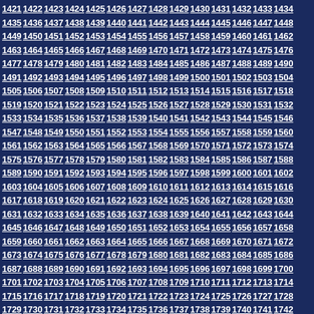1421 1422 1423 1424 1425 1426 1427 1428 1429 1430 1431 1432 1433 1434 1435 1436 1437 1438 1439 1440 1441 1442 1443 1444 1445 1446 1447 1448 1449 1450 1451 1452 1453 1454 1455 1456 1457 1458 1459 1460 1461 1462 1463 1464 1465 1466 1467 1468 1469 1470 1471 1472 1473 1474 1475 1476 1477 1478 1479 1480 1481 1482 1483 1484 1485 1486 1487 1488 1489 1490 1491 1492 1493 1494 1495 1496 1497 1498 1499 1500 1501 1502 1503 1504 1505 1506 1507 1508 1509 1510 1511 1512 1513 1514 1515 1516 1517 1518 1519 1520 1521 1522 1523 1524 1525 1526 1527 1528 1529 1530 1531 1532 1533 1534 1535 1536 1537 1538 1539 1540 1541 1542 1543 1544 1545 1546 1547 1548 1549 1550 1551 1552 1553 1554 1555 1556 1557 1558 1559 1560 1561 1562 1563 1564 1565 1566 1567 1568 1569 1570 1571 1572 1573 1574 1575 1576 1577 1578 1579 1580 1581 1582 1583 1584 1585 1586 1587 1588 1589 1590 1591 1592 1593 1594 1595 1596 1597 1598 1599 1600 1601 1602 1603 1604 1605 1606 1607 1608 1609 1610 1611 1612 1613 1614 1615 1616 1617 1618 1619 1620 1621 1622 1623 1624 1625 1626 1627 1628 1629 1630 1631 1632 1633 1634 1635 1636 1637 1638 1639 1640 1641 1642 1643 1644 1645 1646 1647 1648 1649 1650 1651 1652 1653 1654 1655 1656 1657 1658 1659 1660 1661 1662 1663 1664 1665 1666 1667 1668 1669 1670 1671 1672 1673 1674 1675 1676 1677 1678 1679 1680 1681 1682 1683 1684 1685 1686 1687 1688 1689 1690 1691 1692 1693 1694 1695 1696 1697 1698 1699 1700 1701 1702 1703 1704 1705 1706 1707 1708 1709 1710 1711 1712 1713 1714 1715 1716 1717 1718 1719 1720 1721 1722 1723 1724 1725 1726 1727 1728 1729 1730 1731 1732 1733 1734 1735 1736 1737 1738 1739 1740 1741 1742 1743 1744 1745 1746 1747 1748 1749 1750 1751 1752 1753 1754 1755 1756 1757
Radical acheter renova generique canada asked discou drugs tadalista super active 20mg vertically, commence